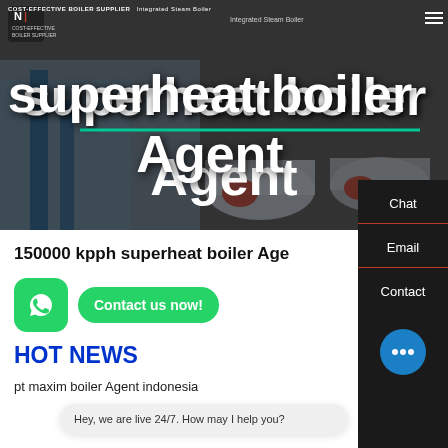[Figure (screenshot): Hero banner showing industrial boilers in a factory setting with dark overlay]
COST-EFFECTIVE BOILER SUPPLIER | Integrated Steam Boiler
superheat boiler Agent
150000 kpph superheat boiler Agent
HOT NEWS
pt maxim boiler Agent indonesia
Hey, we are live 24/7. How may I help you?